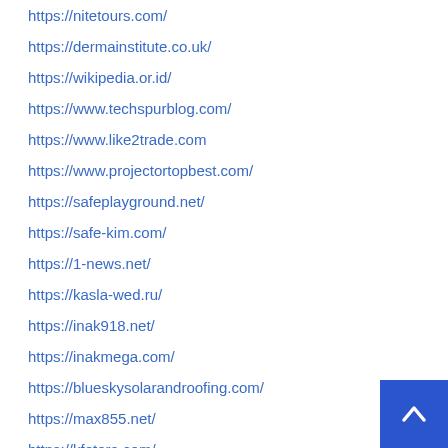https://nitetours.com/
https://dermainstitute.co.uk/
https://wikipedia.or.id/
https://www.techspurblog.com/
https://www.like2trade.com
https://www.projectortopbest.com/
https://safeplayground.net/
https://safe-kim.com/
https://1-news.net/
https://kasla-wed.ru/
https://inak918.net/
https://inakmega.com/
https://blueskysolarandroofing.com/
https://max855.net/
https://kfetera.com/